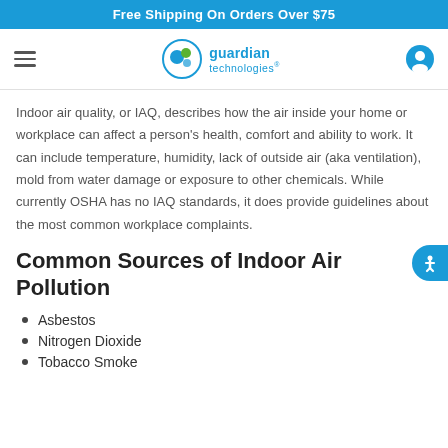Free Shipping On Orders Over $75
[Figure (logo): Guardian Technologies logo with circular icon containing green and blue dots, company name in blue]
Indoor air quality, or IAQ, describes how the air inside your home or workplace can affect a person's health, comfort and ability to work. It can include temperature, humidity, lack of outside air (aka ventilation), mold from water damage or exposure to other chemicals. While currently OSHA has no IAQ standards, it does provide guidelines about the most common workplace complaints.
Common Sources of Indoor Air Pollution
Asbestos
Nitrogen Dioxide
Tobacco Smoke